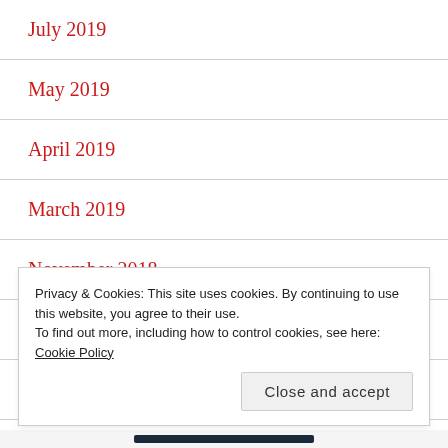July 2019
May 2019
April 2019
March 2019
November 2018
June 2018
February 2018
Privacy & Cookies: This site uses cookies. By continuing to use this website, you agree to their use.
To find out more, including how to control cookies, see here: Cookie Policy
Close and accept